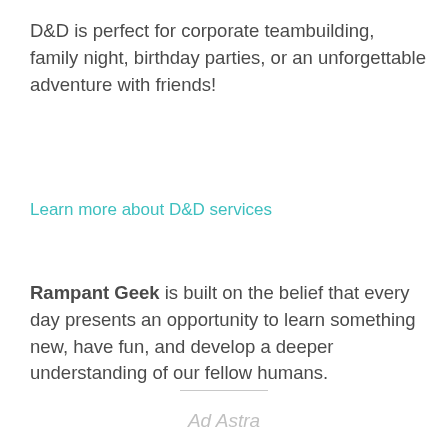D&D is perfect for corporate teambuilding, family night, birthday parties, or an unforgettable adventure with friends!
Learn more about D&D services
Rampant Geek is built on the belief that every day presents an opportunity to learn something new, have fun, and develop a deeper understanding of our fellow humans.
Ad Astra